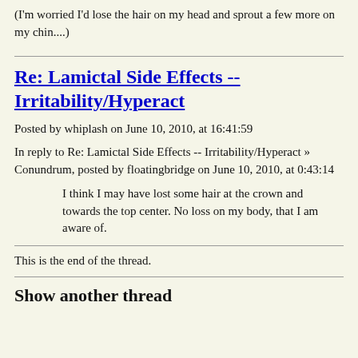(I'm worried I'd lose the hair on my head and sprout a few more on my chin....)
Re: Lamictal Side Effects -- Irritability/Hyperact
Posted by whiplash on June 10, 2010, at 16:41:59
In reply to Re: Lamictal Side Effects -- Irritability/Hyperact » Conundrum, posted by floatingbridge on June 10, 2010, at 0:43:14
I think I may have lost some hair at the crown and towards the top center. No loss on my body, that I am aware of.
This is the end of the thread.
Show another thread